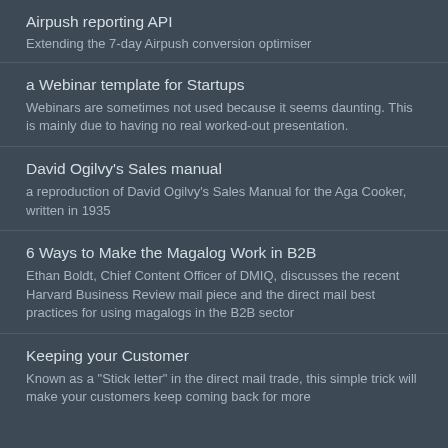Airpush reporting API
Extending the 7-day Airpush conversion optimiser
a Webinar template for Startups
Webinars are sometimes not used because it seems daunting. This is mainly due to having no real worked-out presentation.
David Ogilvy's Sales manual
a reproduction of David Ogilvy's Sales Manual for the Aga Cooker, written in 1935
6 Ways to Make the Magalog Work in B2B
Ethan Boldt, Chief Content Officer of DMIQ, discusses the recent Harvard Business Review mail piece and the direct mail best practices for using magalogs in the B2B sector
Keeping your Customer
Known as a "Stick letter" in the direct mail trade, this simple trick will make your customers keep coming back for more